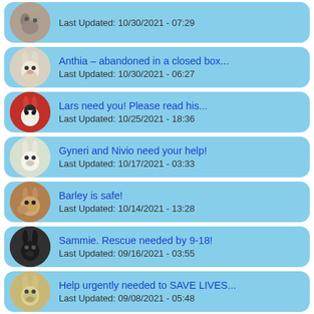Last Updated: 10/30/2021 - 07:29
Anthia – abandoned in a closed box...
Last Updated: 10/30/2021 - 06:27
Lars need you! Please read his...
Last Updated: 10/25/2021 - 18:36
Gyneri and Nivio need your help!
Last Updated: 10/17/2021 - 03:33
Barley is safe!
Last Updated: 10/14/2021 - 13:28
Sammie. Rescue needed by 9-18!
Last Updated: 09/16/2021 - 03:55
Help urgently needed to SAVE LIVES...
Last Updated: 09/08/2021 - 05:48